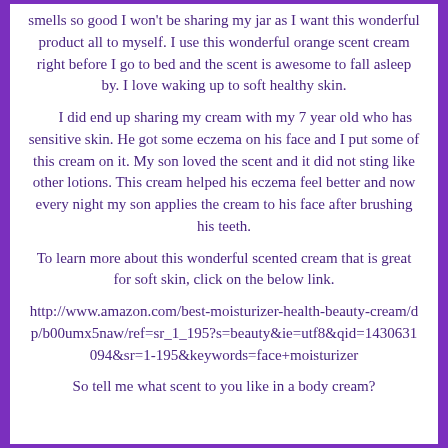smells so good I won't be sharing my jar as I want this wonderful product all to myself. I use this wonderful orange scent cream right before I go to bed and the scent is awesome to fall asleep by. I love waking up to soft healthy skin.
I did end up sharing my cream with my 7 year old who has sensitive skin. He got some eczema on his face and I put some of this cream on it. My son loved the scent and it did not sting like other lotions. This cream helped his eczema feel better and now every night my son applies the cream to his face after brushing his teeth.
To learn more about this wonderful scented cream that is great for soft skin, click on the below link.
http://www.amazon.com/best-moisturizer-health-beauty-cream/dp/b00umx5naw/ref=sr_1_195?s=beauty&ie=utf8&qid=1430631094&sr=1-195&keywords=face+moisturizer
So tell me what scent to you like in a body cream?